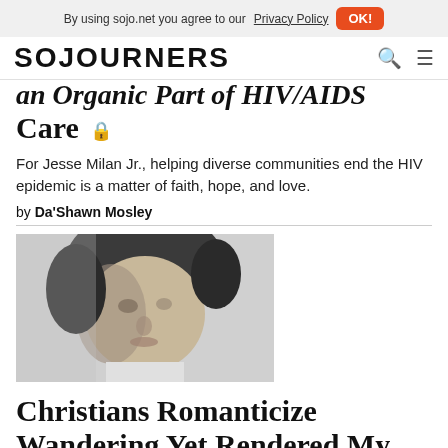By using sojo.net you agree to our Privacy Policy  OK!
SOJOURNERS
an Organic Part of HIV/AIDS Care 🔒
For Jesse Milan Jr., helping diverse communities end the HIV epidemic is a matter of faith, hope, and love.
by Da'Shawn Mosley
[Figure (photo): Black and white portrait photo of a person, close-up face shot]
Christians Romanticize Wandering Yet Rendered My